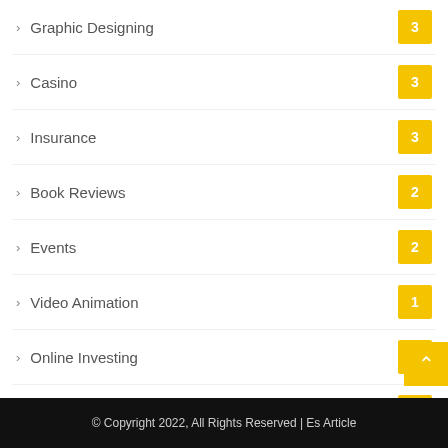Graphic Designing 3
Casino 3
Insurance 3
Book Reviews 2
Events 2
Video Animation 1
Online Investing 1
Recreation and Sports 1
tet
© Copyright 2022, All Rights Reserved | Es Article